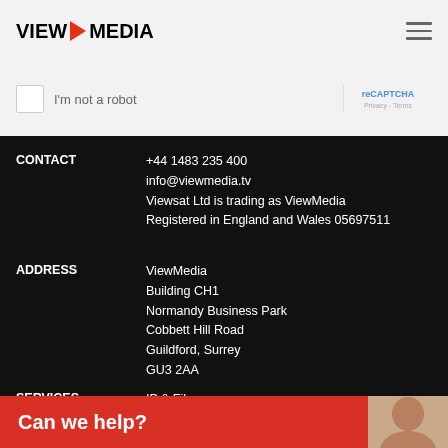VIEW MEDIA
[Figure (screenshot): reCAPTCHA checkbox with 'I'm not a robot' label and reCAPTCHA logo]
CONTACT
+44 1483 235 400
info@viewmedia.tv
Viewsat Ltd is trading as ViewMedia
Registered in England and Wales 05697511
ADDRESS
ViewMedia
Building CH1
Normandy Business Park
Cobbett Hill Road
Guildford, Surrey
GU3 2AA
SERVICES
IP & Fibre
Channel Playout
[Figure (infographic): Red banner with 'Can we help?' text and photo of a smiling woman]